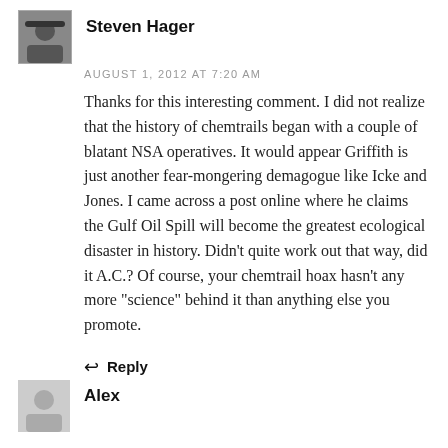[Figure (photo): Small square avatar photo of Steven Hager, a person wearing a hat]
Steven Hager
AUGUST 1, 2012 AT 7:20 AM
Thanks for this interesting comment. I did not realize that the history of chemtrails began with a couple of blatant NSA operatives. It would appear Griffith is just another fear-mongering demagogue like Icke and Jones. I came across a post online where he claims the Gulf Oil Spill will become the greatest ecological disaster in history. Didn't quite work out that way, did it A.C.? Of course, your chemtrail hoax hasn't any more “science” behind it than anything else you promote.
↩ Reply
[Figure (illustration): Generic gray avatar placeholder icon]
Alex